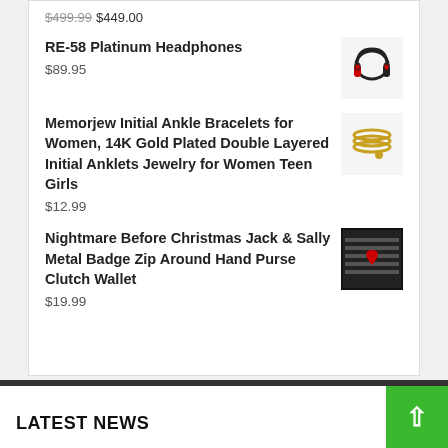$499.99 $449.00
RE-58 Platinum Headphones
$89.95
Memorjew Initial Ankle Bracelets for Women, 14K Gold Plated Double Layered Initial Anklets Jewelry for Women Teen Girls
$12.99
Nightmare Before Christmas Jack & Sally Metal Badge Zip Around Hand Purse Clutch Wallet
$19.99
LATEST NEWS